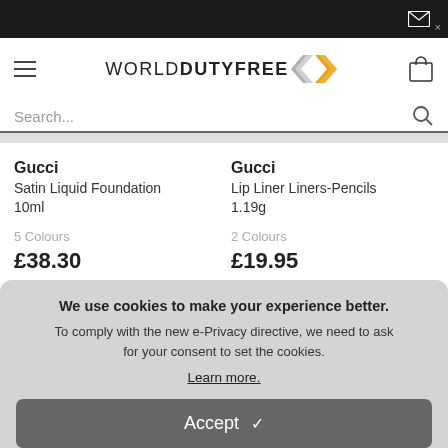[Figure (screenshot): World Duty Free website screenshot showing product listing and cookie consent banner]
Search...
Gucci
Satin Liquid Foundation 10ml
5 Colours
£38.30
Gucci
Lip Liner Liners-Pencils 1.19g
2 Colours
£19.95
We use cookies to make your experience better. To comply with the new e-Privacy directive, we need to ask for your consent to set the cookies. Learn more.
Accept